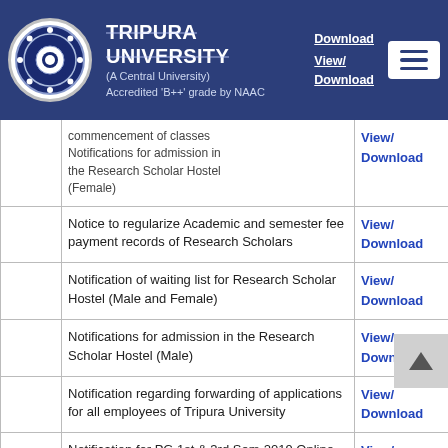TRIPURA UNIVERSITY (A Central University) Accredited 'B++' grade by NAAC
|  | Notification | Link |
| --- | --- | --- |
|  | commencement of classes / Notifications for admission in the Research Scholar Hostel (Female) | Download / View/ Download |
|  | Notice to regularize Academic and semester fee payment records of Research Scholars | View/ Download |
|  | Notification of waiting list for Research Scholar Hostel (Male and Female) | View/ Download |
|  | Notifications for admission in the Research Scholar Hostel (Male) | View/ Download |
|  | Notification regarding forwarding of applications for all employees of Tripura University | View/ Download |
|  | Notification for PG 1st & 3rd Sem-2019 Online Exam Form Filling Up | View/ Download |
|  | Notification for admission in PG | View/ |